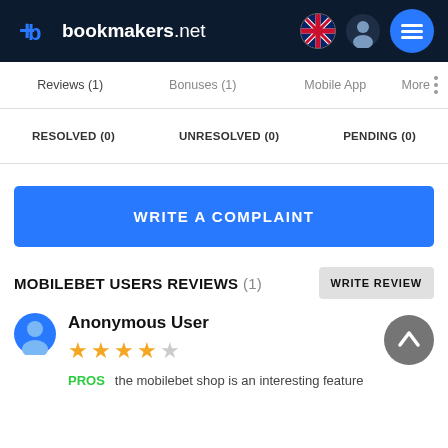bookmakers.net
Reviews (1)  Bonuses (1)  Mobile App  More
RESOLVED (0)  UNRESOLVED (0)  PENDING (0)
WRITE A COMPLAINT
MOBILEBET USERS REVIEWS (1)
Anonymous User
★★★★☆
PROS   the mobilebet shop is an interesting feature